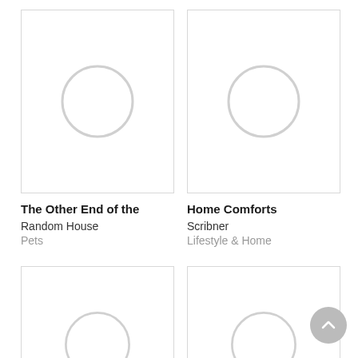[Figure (illustration): Book cover placeholder with light gray circle on white background, bordered card for 'The Other End of the']
The Other End of the
Random House
Pets
[Figure (illustration): Book cover placeholder with light gray circle on white background, bordered card for 'Home Comforts']
Home Comforts
Scribner
Lifestyle & Home
[Figure (illustration): Book cover placeholder with light gray circle on white background, bordered card (bottom left, partially visible)]
[Figure (illustration): Book cover placeholder with light gray circle on white background, bordered card (bottom right, partially visible)]